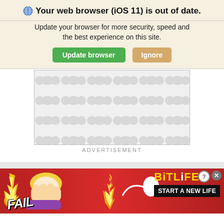Your web browser (iOS 11) is out of date.
Update your browser for more security, speed and the best experience on this site.
[Figure (screenshot): Browser update warning banner with 'Update browser' green button and 'Ignore' tan button]
[Figure (photo): Gray advertisement placeholder area with repeating dumbbell/molecule pattern]
ADVERTISEMENT
[Figure (screenshot): BitLife mobile game advertisement banner with 'FAIL' text, facepalm emoji, flame emoji, BitLife logo in yellow, and 'START A NEW LIFE' text on black background]